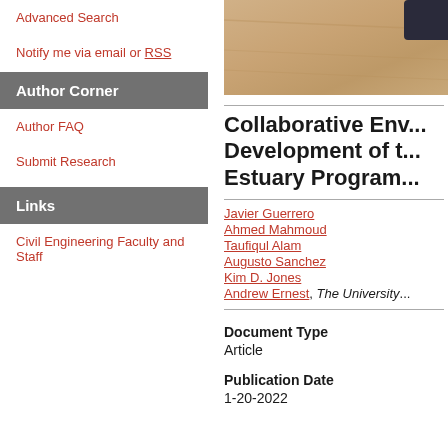Advanced Search
Notify me via email or RSS
Author Corner
Author FAQ
Submit Research
Links
Civil Engineering Faculty and Staff
[Figure (photo): Photograph of wooden surface/desk, partially cropped, top-right of page]
Collaborative En... Development of t... Estuary Program...
Javier Guerrero
Ahmed Mahmoud
Taufiqul Alam
Augusto Sanchez
Kim D. Jones
Andrew Ernest, The University...
Document Type
Article
Publication Date
1-20-2022